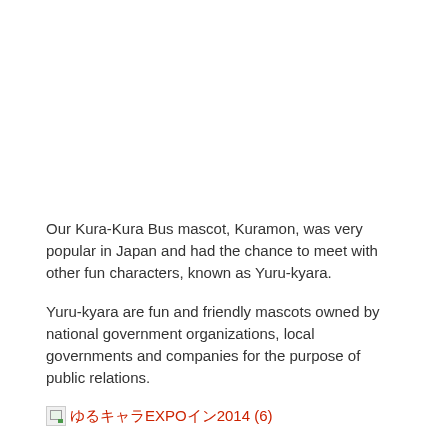Our Kura-Kura Bus mascot, Kuramon, was very popular in Japan and had the chance to meet with other fun characters, known as Yuru-kyara.
Yuru-kyara are fun and friendly mascots owned by national government organizations, local governments and companies for the purpose of public relations.
[image] ゆるキャラEXPOイン2014 (6)